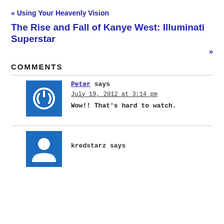« Using Your Heavenly Vision
The Rise and Fall of Kanye West: Illuminati Superstar
»
COMMENTS
Peter says
July 19, 2012 at 3:14 pm
Wow!! That's hard to watch.
kredstarz says